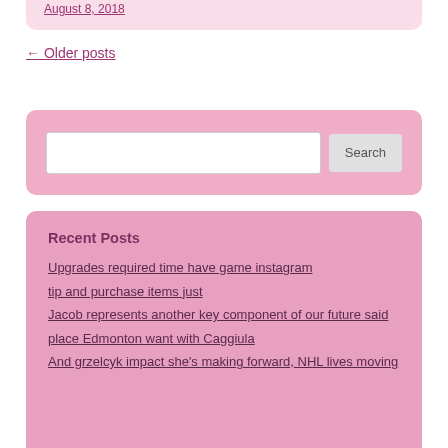August 8, 2018
← Older posts
Recent Posts
Upgrades required time have game instagram
tip and purchase items just
Jacob represents another key component of our future said
place Edmonton want with Caggiula
And grzelcyk impact she's making forward, NHL lives moving